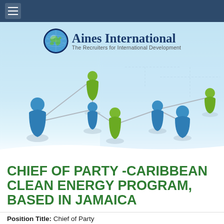[Figure (logo): Aines International logo with globe icon and tagline 'The Recruiters for International Development']
[Figure (illustration): Network of blue and green 3D human figures connected by lines on a light blue background with circuit board pattern]
CHIEF OF PARTY -CARIBBEAN CLEAN ENERGY PROGRAM, BASED IN JAMAICA
Position Title:  Chief of Party